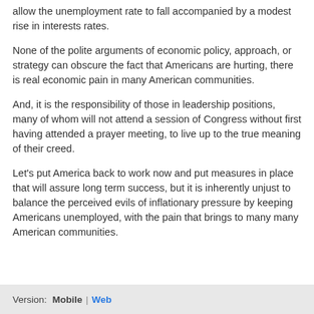allow the unemployment rate to fall accompanied by a modest rise in interests rates.
None of the polite arguments of economic policy, approach, or strategy can obscure the fact that Americans are hurting, there is real economic pain in many American communities.
And, it is the responsibility of those in leadership positions, many of whom will not attend a session of Congress without first having attended a prayer meeting, to live up to the true meaning of their creed.
Let's put America back to work now and put measures in place that will assure long term success, but it is inherently unjust to balance the perceived evils of inflationary pressure by keeping Americans unemployed, with the pain that brings to many many American communities.
Version:  Mobile | Web